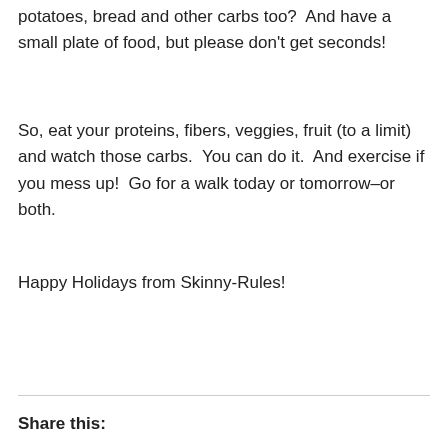potatoes, bread and other carbs too?  And have a small plate of food, but please don’t get seconds!
So, eat your proteins, fibers, veggies, fruit (to a limit) and watch those carbs.  You can do it.  And exercise if you mess up!  Go for a walk today or tomorrow–or both.
Happy Holidays from Skinny-Rules!
Share this: